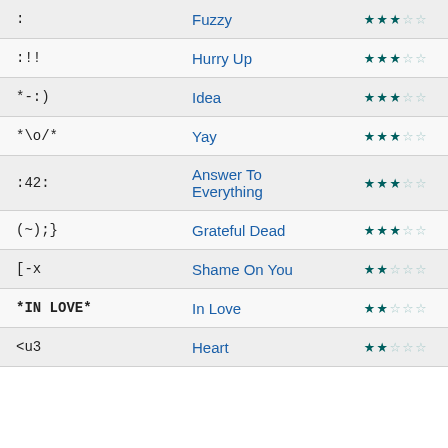| Code | Name | Rating |
| --- | --- | --- |
| : | Fuzzy | 3/5 |
| :!! | Hurry Up | 3/5 |
| *-:) | Idea | 3/5 |
| *\o/* | Yay | 3/5 |
| :42: | Answer To Everything | 3/5 |
| (~);} | Grateful Dead | 3/5 |
| [-x | Shame On You | 2/5 |
| *IN LOVE* | In Love | 2/5 |
| <u3 | Heart | 2/5 |